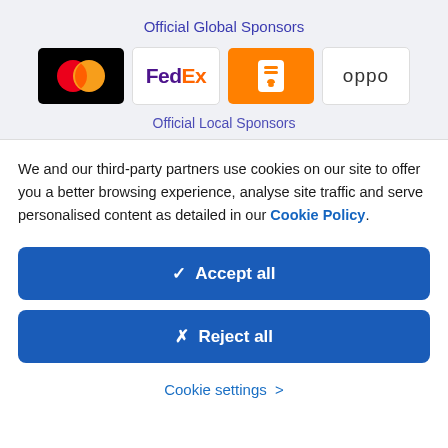Official Global Sponsors
[Figure (logo): Sponsor logos: Mastercard, FedEx, Deliveroo (orange food delivery icon), OPPO]
Official Local Sponsors (partially visible)
We and our third-party partners use cookies on our site to offer you a better browsing experience, analyse site traffic and serve personalised content as detailed in our Cookie Policy.
✓  Accept all
✗  Reject all
Cookie settings >